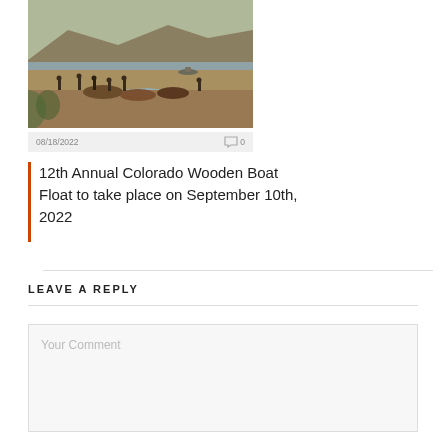[Figure (photo): Outdoor riverbank scene with boats and people along the shore, hills in background]
08/18/2022   ◯0
12th Annual Colorado Wooden Boat Float to take place on September 10th, 2022
LEAVE A REPLY
Your Comment